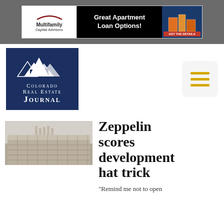[Figure (illustration): Advertisement banner: Multifamily Capital Advisors - Great Apartment Loan Options!]
[Figure (logo): Colorado Real Estate Journal logo with mountain/city skyline icon on dark blue background]
[Figure (illustration): Hamburger menu icon with three yellow lines on light gray rounded rectangle]
[Figure (photo): Thumbnail photo of a commercial building/development]
Zeppelin scores development hat trick
“Remind me not to open